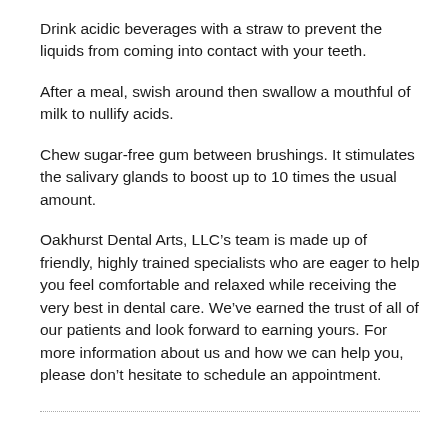Drink acidic beverages with a straw to prevent the liquids from coming into contact with your teeth.
After a meal, swish around then swallow a mouthful of milk to nullify acids.
Chew sugar-free gum between brushings. It stimulates the salivary glands to boost up to 10 times the usual amount.
Oakhurst Dental Arts, LLC’s team is made up of friendly, highly trained specialists who are eager to help you feel comfortable and relaxed while receiving the very best in dental care. We’ve earned the trust of all of our patients and look forward to earning yours. For more information about us and how we can help you, please don’t hesitate to schedule an appointment.